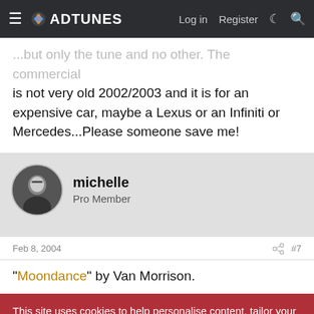ADTUNES | Log in | Register
...but only the tune and no other. The commercial is not very old 2002/2003 and it is for an expensive car, maybe a Lexus or an Infiniti or Mercedes...Please someone save me!
michelle
Pro Member
Feb 8, 2004  #7
"Moondance" by Van Morrison.
This site uses cookies to help personalise content, tailor your experience and to keep you logged in if you register.
By continuing to use this site, you are consenting to our use of cookies.